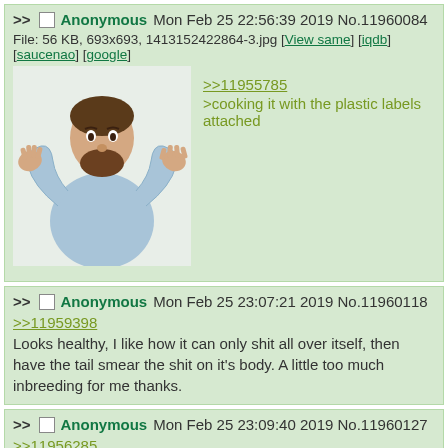>> Anonymous Mon Feb 25 22:56:39 2019 No.11960084
File: 56 KB, 693x693, 1413152422864-3.jpg [View same] [iqdb] [saucenao] [google]
>>11955785
>cooking it with the plastic labels attached
>> Anonymous Mon Feb 25 23:07:21 2019 No.11960118
>>11959398
Looks healthy, I like how it can only shit all over itself, then have the tail smear the shit on it's body. A little too much inbreeding for me thanks.
>> Anonymous Mon Feb 25 23:09:40 2019 No.11960127
>>11956285
I hate gooks so fucking much
>> Anonymous Mon Feb 25 23:35:27 2019 No.11960227